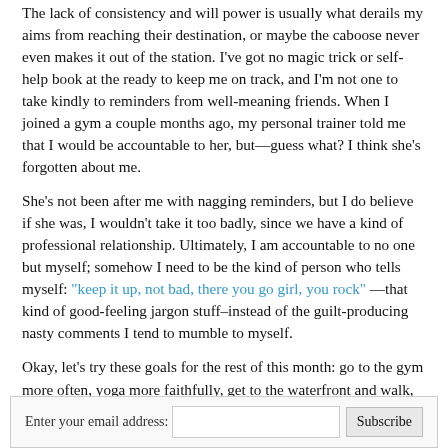The lack of consistency and will power is usually what derails my aims from reaching their destination, or maybe the caboose never even makes it out of the station. I've got no magic trick or self-help book at the ready to keep me on track, and I'm not one to take kindly to reminders from well-meaning friends. When I joined a gym a couple months ago, my personal trainer told me that I would be accountable to her, but—guess what? I think she's forgotten about me.
She's not been after me with nagging reminders, but I do believe if she was, I wouldn't take it too badly, since we have a kind of professional relationship. Ultimately, I am accountable to no one but myself; somehow I need to be the kind of person who tells myself: "keep it up, not bad, there you go girl, you rock" —that kind of good-feeling jargon stuff–instead of the guilt-producing nasty comments I tend to mumble to myself.
Okay, let's try these goals for the rest of this month: go to the gym more often, yoga more faithfully, get to the waterfront and walk, walk down a new road, do something unplanned and spontaneous. Dig myself out of this dangerous rut. At the end of October, I can make assessments to see if I'll be able to add more to November's list.
Enter your email address: [input] Subscribe